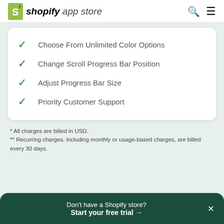shopify app store
Choose From Unlimited Color Options
Change Scroll Progress Bar Position
Adjust Progress Bar Size
Priority Customer Support
* All charges are billed in USD.
** Recurring charges, including monthly or usage-based charges, are billed every 30 days.
Don't have a Shopify store? Start your free trial →